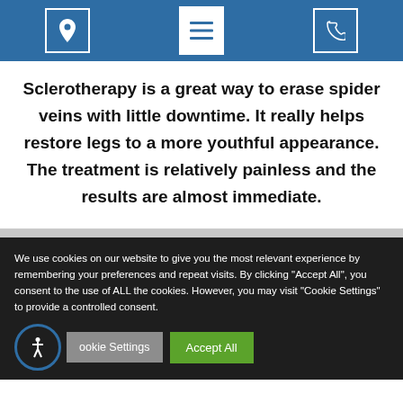[Header navigation bar with location icon, menu icon, and phone icon]
Sclerotherapy is a great way to erase spider veins with little downtime. It really helps restore legs to a more youthful appearance. The treatment is relatively painless and the results are almost immediate.
We use cookies on our website to give you the most relevant experience by remembering your preferences and repeat visits. By clicking "Accept All", you consent to the use of ALL the cookies. However, you may visit "Cookie Settings" to provide a controlled consent.
Cookie Settings | Accept All